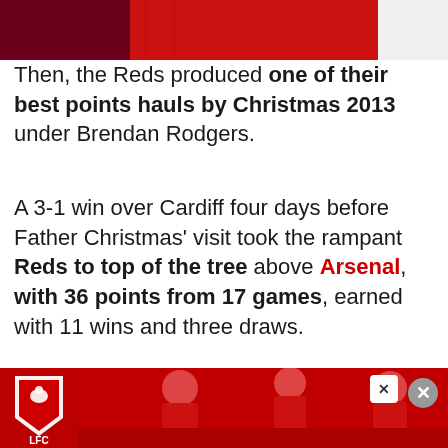[Figure (photo): Top portion of a Liverpool FC player wearing red kit, with a dark maroon square/shirt section visible on the left and red jersey on the right against white background]
Then, the Reds produced one of their best points hauls by Christmas 2013 under Brendan Rodgers.
A 3-1 win over Cardiff four days before Father Christmas' visit took the rampant Reds to top of the tree above Arsenal, with 36 points from 17 games, earned with 11 wins and three draws.
[Figure (photo): LIVERPOOL, ENGLAND - Saturday, December 21, 2013: Liverpool's Luis Suarez celebrates scoring the third goal against Cardiff City, his second of the game, during the Premiership match at Anfield. (Pic by David...)]
[Figure (photo): Liverpool FC advertisement banner showing players in red LFC kit with LFC shield logo]